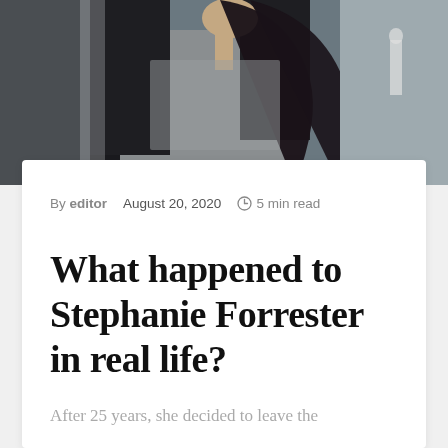[Figure (photo): A woman with long dark hair wearing a grey knit top and dark jacket, photographed from behind/side, blurred urban background with another person visible in background.]
By editor   August 20, 2020   🕐5 min read
What happened to Stephanie Forrester in real life?
After 25 years, she decided to leave the